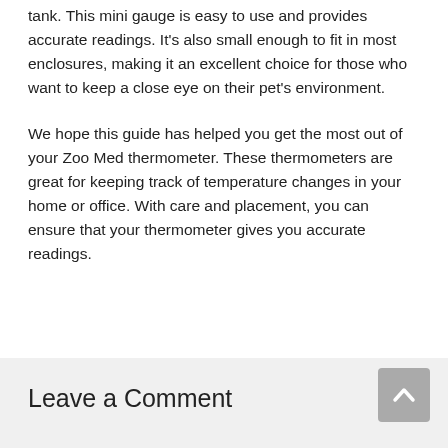tank. This mini gauge is easy to use and provides accurate readings. It's also small enough to fit in most enclosures, making it an excellent choice for those who want to keep a close eye on their pet's environment.
We hope this guide has helped you get the most out of your Zoo Med thermometer. These thermometers are great for keeping track of temperature changes in your home or office. With care and placement, you can ensure that your thermometer gives you accurate readings.
Leave a Comment